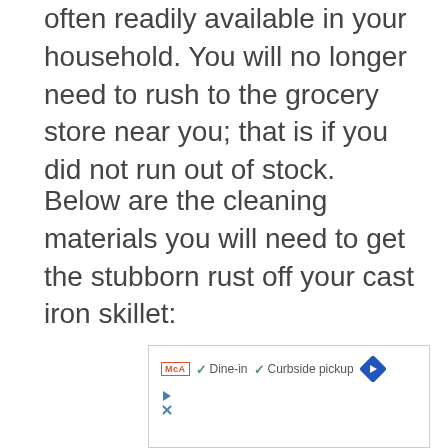often readily available in your household. You will no longer need to rush to the grocery store near you; that is if you did not run out of stock.
Below are the cleaning materials you will need to get the stubborn rust off your cast iron skillet:
[Figure (other): Advertisement box showing MCA logo, dine-in and curbside pickup checkmarks, a blue arrow diamond icon, and play/close control buttons.]